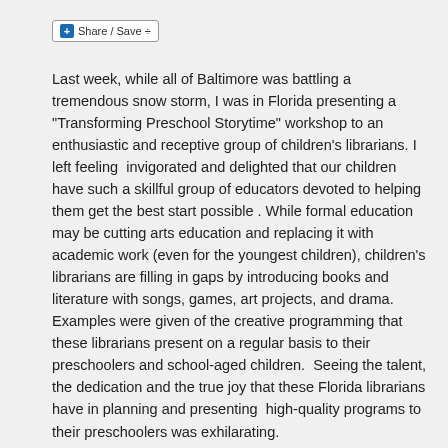Share / Save
Last week, while all of Baltimore was battling a tremendous snow storm, I was in Florida presenting a “Transforming Preschool Storytime” workshop to an enthusiastic and receptive group of children’s librarians. I left feeling  invigorated and delighted that our children have such a skillful group of educators devoted to helping them get the best start possible . While formal education may be cutting arts education and replacing it with academic work (even for the youngest children), children’s librarians are filling in gaps by introducing books and literature with songs, games, art projects, and drama. Examples were given of the creative programming that these librarians present on a regular basis to their preschoolers and school-aged children.  Seeing the talent, the dedication and the true joy that these Florida librarians have in planning and presenting  high-quality programs to their preschoolers was exhilarating.